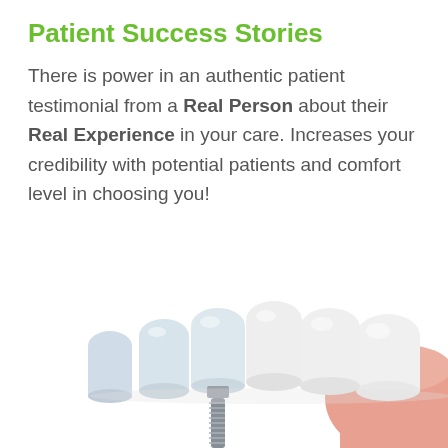Patient Success Stories
There is power in an authentic patient testimonial from a Real Person about their Real Experience in your care. Increases your credibility with potential patients and comfort level in choosing you!
[Figure (illustration): 3D illustration of dental implants and natural teeth on a jaw, showing a titanium implant screw below a row of white teeth crowns with pink gum tissue on the right side.]